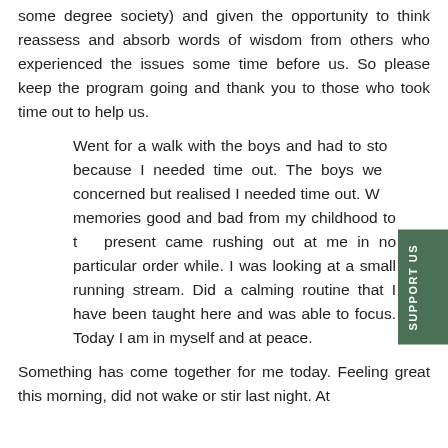some degree society) and given the opportunity to think reassess and absorb words of wisdom from others who experienced the issues some time before us. So please keep the program going and thank you to those who took time out to help us.
Went for a walk with the boys and had to stop because I needed time out. The boys were concerned but realised I needed time out. W... memories good and bad from my childhood to the present came rushing out at me in no particular order while. I was looking at a small running stream. Did a calming routine that I have been taught here and was able to focus. Today I am in myself and at peace.
Something has come together for me today. Feeling great this morning, did not wake or stir last night. At